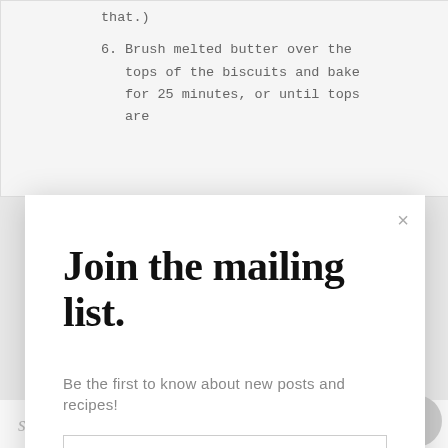that.)
6. Brush melted butter over the tops of the biscuits and bake for 25 minutes, or until tops are
Join the mailing list.
Be the first to know about new posts and recipes!
Email address
SUBSCRIBE
share:  f Share   Tweet   in